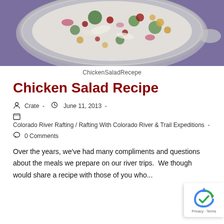[Figure (photo): Overhead photo of a large mixing bowl with chicken salad — shredded chicken, broccoli, red onion, cranberries, chickpeas/corn, and creamy dressing on a purple background]
ChickenSaladRecepe
Chicken Salad Recipe
Crate  -  June 11, 2013  -
Colorado River Rafting / Rafting With Colorado River & Trail Expeditions  -
0 Comments
Over the years, we've had many compliments and questions about the meals we prepare on our river trips.  We though would share a recipe with those of you who...